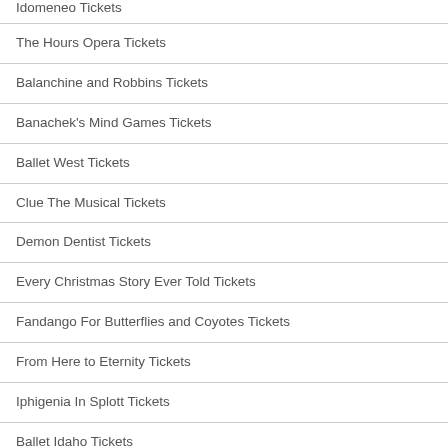Idomeneo Tickets
The Hours Opera Tickets
Balanchine and Robbins Tickets
Banachek's Mind Games Tickets
Ballet West Tickets
Clue The Musical Tickets
Demon Dentist Tickets
Every Christmas Story Ever Told Tickets
Fandango For Butterflies and Coyotes Tickets
From Here to Eternity Tickets
Iphigenia In Splott Tickets
Ballet Idaho Tickets
It's A Wonderful Life Tickets